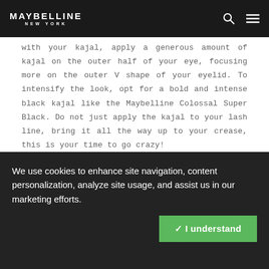MAYBELLINE NEW YORK
with your kajal, apply a generous amount of kajal on the outer half of your eye, focusing more on the outer V shape of your eyelid. To intensify the look, opt for a bold and intense black kajal like the Maybelline Colossal Super Black. Do not just apply the kajal to your lash line, bring it all the way up to your crease, this is your time to go crazy!
Next, using a dense blending brush, carefully blend but do not erase your seamless base with no harsh lines and edges. You can go over this with a black eyeshadow or
We use cookies to enhance site navigation, content personalization, analyze site usage, and assist us in our marketing efforts.
✓ I understand